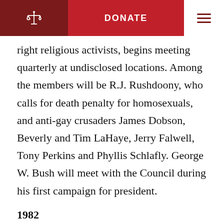DONATE
right religious activists, begins meeting quarterly at undisclosed locations. Among the members will be R.J. Rushdoony, who calls for death penalty for homosexuals, and anti-gay crusaders James Dobson, Beverly and Tim LaHaye, Jerry Falwell, Tony Perkins and Phyllis Schlafly. George W. Bush will meet with the Council during his first campaign for president.
1982
The U.S. Department of Defense issues a policy